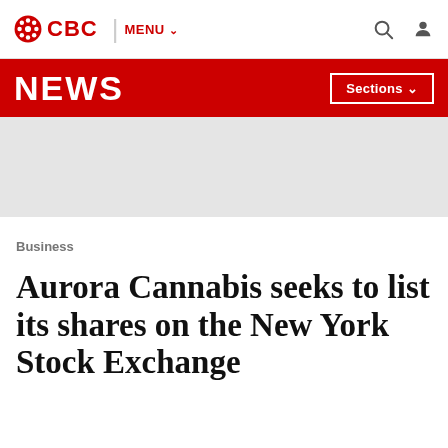CBC | MENU
NEWS | Sections
[Figure (other): Gray advertisement/placeholder area]
Business
Aurora Cannabis seeks to list its shares on the New York Stock Exchange